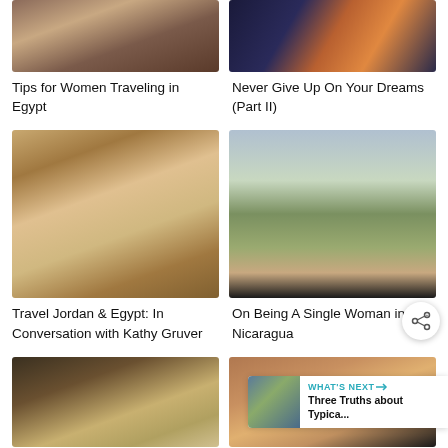[Figure (photo): Close-up of bronze/copper bells]
Tips for Women Traveling in Egypt
[Figure (photo): Bokeh lights, dark blue and orange tones]
Never Give Up On Your Dreams (Part II)
[Figure (photo): Ancient Egyptian temple interior with carved columns and hieroglyphics, people walking]
Travel Jordan & Egypt: In Conversation with Kathy Gruver
[Figure (photo): Woman smiling in black shirt overlooking savanna landscape in Nicaragua]
On Being A Single Woman in Nicaragua
[Figure (photo): Old map with compass and camera on table]
[Figure (photo): Petra ancient rock-carved architecture with people]
WHAT'S NEXT → Three Truths about Typica...